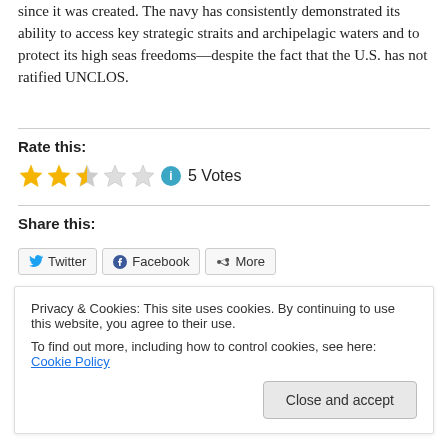since it was created. The navy has consistently demonstrated its ability to access key strategic straits and archipelagic waters and to protect its high seas freedoms—despite the fact that the U.S. has not ratified UNCLOS.
Rate this:
[Figure (other): Star rating widget showing 2.5 out of 5 stars with info icon and '5 Votes' label]
Share this:
[Figure (other): Share buttons: Twitter, Facebook, More]
Privacy & Cookies: This site uses cookies. By continuing to use this website, you agree to their use. To find out more, including how to control cookies, see here: Cookie Policy